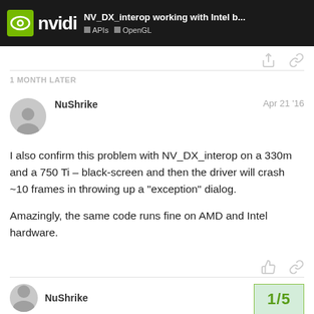NV_DX_interop working with Intel b... | APIs | OpenGL
1 MONTH LATER
NuShrike
Apr 21 '16
I also confirm this problem with NV_DX_interop on a 330m and a 750 Ti – black-screen and then the driver will crash ~10 frames in throwing up a “exception” dialog.

Amazingly, the same code runs fine on AMD and Intel hardware.
NuShrike
Apr 22 '16